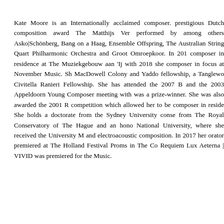Kate Moore is an Internationally acclaimed composer. prestigious Dutch composition award The Matthijs Ver performed by among others Asko|Schönberg, Bang on a Haag, Ensemble Offspring, The Australian String Quart Philharmonic Orchestra and Groot Omroepkoor. In 201 composer in residence at The Muziekgebouw aan 'Ij with 2018 she composer in focus at November Music. Sh MacDowell Colony and Yaddo fellowship, a Tanglewo Civitella Ranieri Fellowship. She has attended the 2007 B and the 2003 Appeldoorn Young Composer meeting with was a prize-winner. She was also awarded the 2001 R competition which allowed her to be composer in reside She holds a doctorate from the Sydney University conse from The Royal Conservatory of The Hague and an hono National University, where she received the University M and electroacoustic composition. In 2017 her orator premiered at The Holland Festival Proms in The Co Requiem Lux Aeterna | VIVID was premiered for the Music.